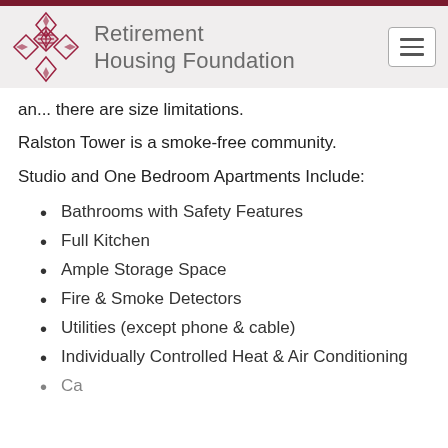Retirement Housing Foundation
and there are size limitations.
Ralston Tower is a smoke-free community.
Studio and One Bedroom Apartments Include:
Bathrooms with Safety Features
Full Kitchen
Ample Storage Space
Fire & Smoke Detectors
Utilities (except phone & cable)
Individually Controlled Heat & Air Conditioning
Carpeting (partially visible, cut off)